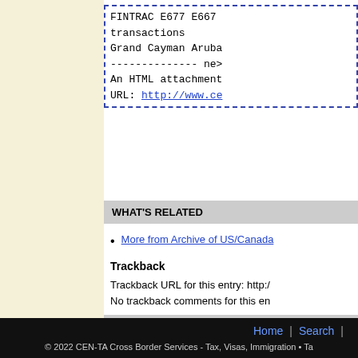FINTRAC E677 E667 transactions Grand Cayman Aruba -------------- ne> An HTML attachment URL: http://www.ce
WHAT'S RELATED
More from Archive of US/Canad...
Trackback
Trackback URL for this entry: http:/ No trackback comments for this en
0 comments
Home | Search | © 2022 CEN-TA Cross Border Services - Tax, Visas, Immigration • Ta